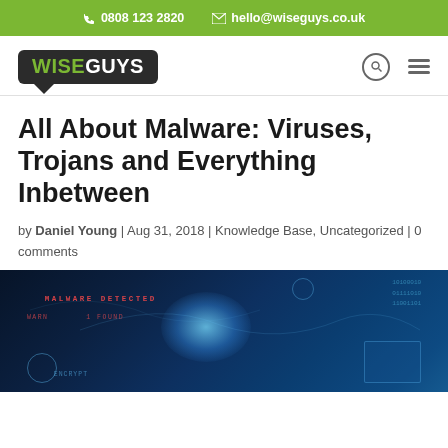0808 123 2820 | hello@wiseguys.co.uk
[Figure (logo): WiseGuys logo — dark speech bubble with WISE in green and GUYS in white, bold sans-serif]
All About Malware: Viruses, Trojans and Everything Inbetween
by Daniel Young | Aug 31, 2018 | Knowledge Base, Uncategorized | 0 comments
[Figure (photo): Cybersecurity themed digital background image showing blue matrix-style data visualization with MALWARE DETECTED warning text in red, glowing network globe, circuit patterns, and digital interface elements]